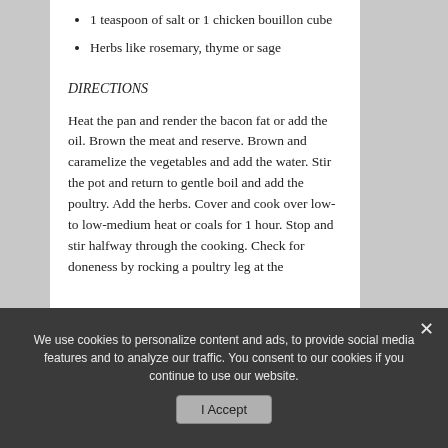1 teaspoon of salt or 1 chicken bouillon cube
Herbs like rosemary, thyme or sage
DIRECTIONS
Heat the pan and render the bacon fat or add the oil. Brown the meat and reserve. Brown and caramelize the vegetables and add the water. Stir the pot and return to gentle boil and add the poultry. Add the herbs. Cover and cook over low- to low-medium heat or coals for 1 hour. Stop and stir halfway through the cooking. Check for doneness by rocking a poultry leg at the
We use cookies to personalize content and ads, to provide social media features and to analyze our traffic. You consent to our cookies if you continue to use our website.